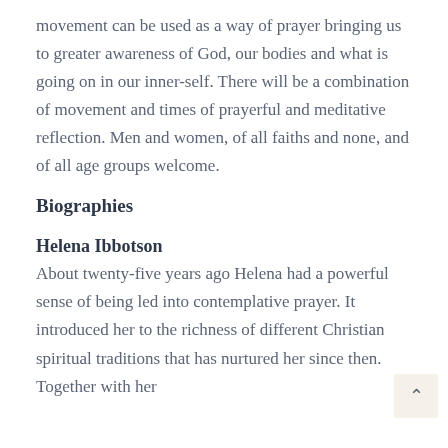movement can be used as a way of prayer bringing us to greater awareness of God, our bodies and what is going on in our inner-self. There will be a combination of movement and times of prayerful and meditative reflection. Men and women, of all faiths and none, and of all age groups welcome.
Biographies
Helena Ibbotson
About twenty-five years ago Helena had a powerful sense of being led into contemplative prayer. It introduced her to the richness of different Christian spiritual traditions that has nurtured her since then. Together with her